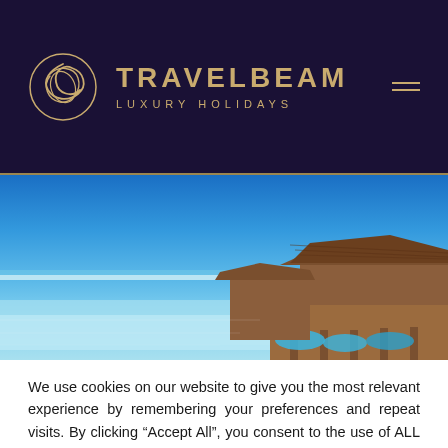[Figure (logo): TravelBeam Luxury Holidays logo with circular decorative emblem and brand name]
[Figure (photo): Aerial view of tropical overwater bungalows with turquoise water and clear blue sky — Maldives-style resort]
We use cookies on our website to give you the most relevant experience by remembering your preferences and repeat visits. By clicking “Accept All”, you consent to the use of ALL the cookies. However, you may visit "Cookie Settings" to provide a controlled consent.